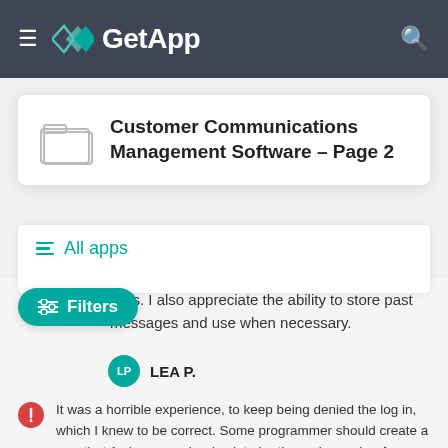GetApp
Customer Communications Management Software - Page 2
All apps
Filters
calls. I also appreciate the ability to store past messages and use when necessary.
LEA P.
It was a horrible experience, to keep being denied the log in, which I knew to be correct. Some programmer should create a way that 1 phone number is ok to be the main number for more than 1 account.
Barbara J M.
Read more about CallingPost